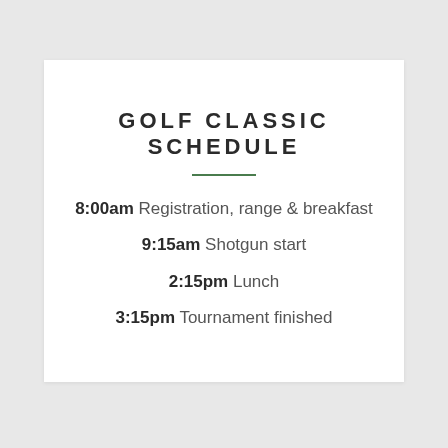GOLF CLASSIC SCHEDULE
8:00am Registration, range & breakfast
9:15am Shotgun start
2:15pm Lunch
3:15pm Tournament finished